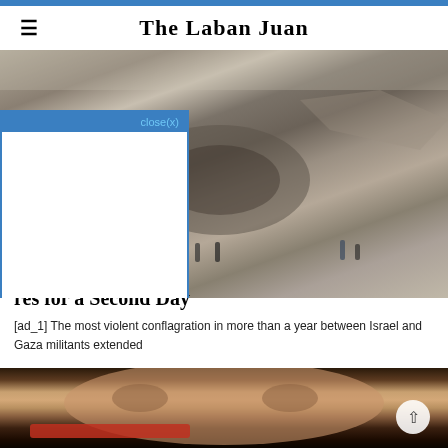The Laban Juan
[Figure (photo): Aerial view of destruction and rubble in Gaza with people standing near a large crater, destroyed buildings surround the scene]
[Figure (other): Ad popup overlay with blue header showing close(x) button and white body content area]
res for a Second Day
[ad_1] The most violent conflagration in more than a year between Israel and Gaza militants extended
[Figure (photo): Close-up photo of an elderly person with red-framed glasses, partially obscured face against dark background]